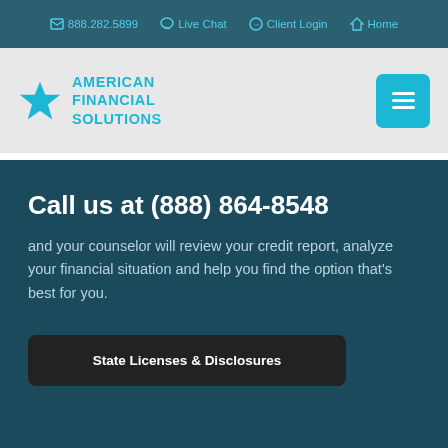📞 888.282.5899   💬 Live Chat   ➡ Client Login   🏠 Home
[Figure (logo): American Financial Solutions logo — teal star with company name in teal bold text]
Call us at (888) 864-8548
and your counselor will review your credit report, analyze your financial situation and help you find the option that's best for you.
State Licenses & Disclosures